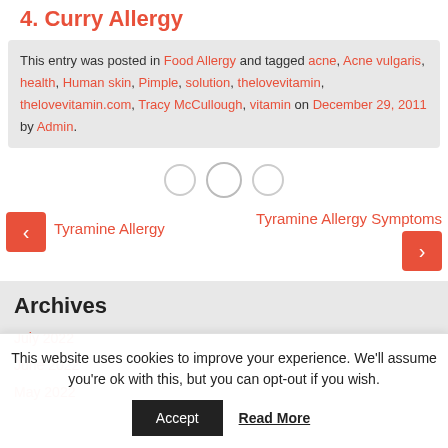4. Curry Allergy
This entry was posted in Food Allergy and tagged acne, Acne vulgaris, health, Human skin, Pimple, solution, thelovevitamin, thelovevitamin.com, Tracy McCullough, vitamin on December 29, 2011 by Admin.
[Figure (other): Three navigation dots, the middle one slightly larger/outlined]
Tyramine Allergy Symptoms
Tyramine Allergy
Archives
July 2022
June 2022
May 2022
This website uses cookies to improve your experience. We'll assume you're ok with this, but you can opt-out if you wish.
Accept   Read More